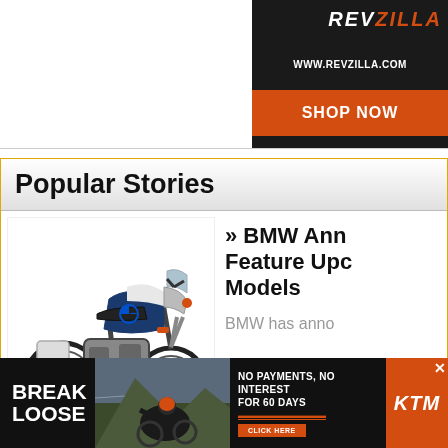[Figure (screenshot): Revzilla advertisement banner - dark background with REVZILLA logo text, www.revzilla.com URL, and orange SHOP NOW button]
Popular Stories
[Figure (photo): BMW adventure motorcycle (R 1250 GS style) in blue/white/silver colorway, side view]
» BMW Ann Feature Upc Models
BMW has anno
[Figure (screenshot): KTM advertisement banner - Break Loose campaign. NO PAYMENTS, NO INTEREST FOR 60 DAYS. CLICK HERE button. KTM logo on orange background.]